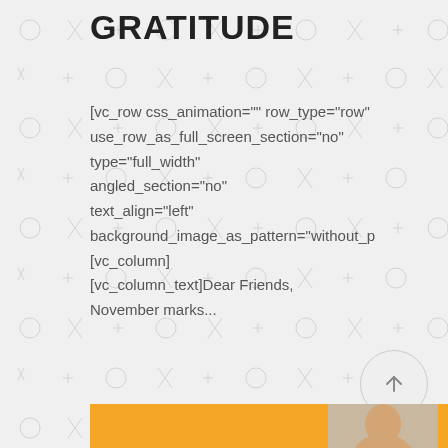GRATITUDE
[vc_row css_animation="" row_type="row" use_row_as_full_screen_section="no" type="full_width" angled_section="no" text_align="left" background_image_as_pattern="without_p [vc_column] [vc_column_text]Dear Friends, November marks...
READ MORE
[Figure (illustration): Orange banner at bottom with partial photo of a person]